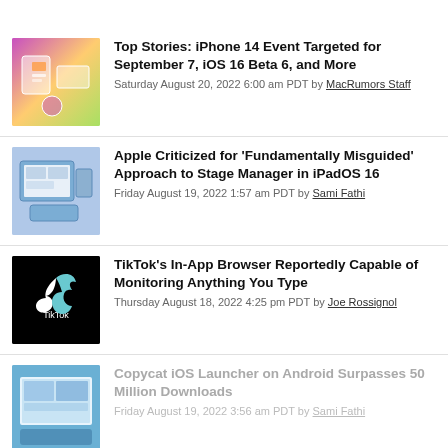[Figure (photo): Thumbnail image with colorful gradient showing Apple devices]
Top Stories: iPhone 14 Event Targeted for September 7, iOS 16 Beta 6, and More
Saturday August 20, 2022 6:00 am PDT by MacRumors Staff
[Figure (photo): Thumbnail image showing iPad with Stage Manager interface]
Apple Criticized for 'Fundamentally Misguided' Approach to Stage Manager in iPadOS 16
Friday August 19, 2022 1:57 am PDT by Sami Fathi
[Figure (logo): TikTok logo on black background]
TikTok's In-App Browser Reportedly Capable of Monitoring Anything You Type
Thursday August 18, 2022 4:25 pm PDT by Joe Rossignol
[Figure (screenshot): Thumbnail showing iOS-style launcher on Android]
Copycat iOS Launcher on Android Surpasses 50 Million Downloads
Friday August 19, 2022 3:56 am PDT by Sami Fathi